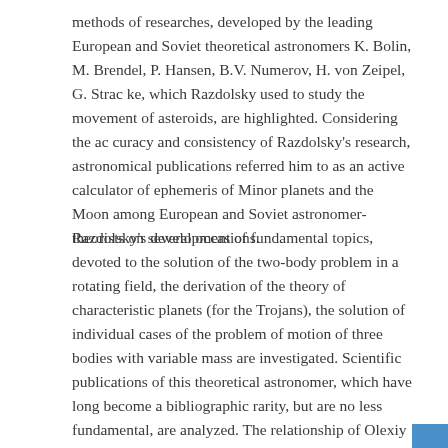methods of researches, developed by the leading European and Soviet theoretical astronomers K. Bolin, M. Brendel, P. Hansen, B.V. Numerov, H. von Zeipel, G. Strac ke, which Razdolsky used to study the movement of asteroids, are highlighted. Considering the ac curacy and consistency of Razdolsky's research, astronomical publications referred him to as an active calculator of ephemeris of Minor planets and the Moon among European and Soviet astronomer-theorists on several occasions.
Razdolsky's development of fundamental topics, devoted to the solution of the two-body problem in a rotating field, the derivation of the theory of characteristic planets (for the Trojans), the solution of individual cases of the problem of motion of three bodies with variable mass are investigated. Scientific publications of this theoretical astronomer, which have long become a bibliographic rarity, but are no less fundamental, are analyzed. The relationship of Olexiy Razdols ky's works with the modern research is shown.